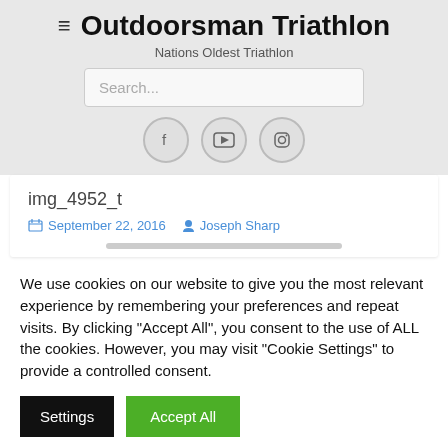Outdoorsman Triathlon
Nations Oldest Triathlon
[Figure (screenshot): Search input box with placeholder text 'Search...']
[Figure (infographic): Social media icon buttons: Facebook, YouTube, Instagram]
img_4952_t
September 22, 2016  Joseph Sharp
We use cookies on our website to give you the most relevant experience by remembering your preferences and repeat visits. By clicking "Accept All", you consent to the use of ALL the cookies. However, you may visit "Cookie Settings" to provide a controlled consent.
Settings  Accept All